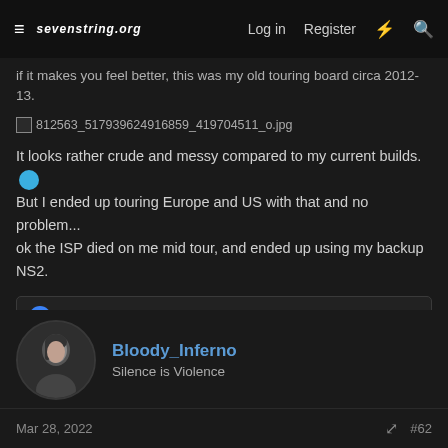sevenstring.org  Log in  Register
if it makes you feel better, this was my old touring board circa 2012-13.
[Figure (photo): Broken image placeholder for file: 812563_517939624916859_419704511_o.jpg]
It looks rather crude and messy compared to my current builds. 😄 But I ended up touring Europe and US with that and no problem... ok the ISP died on me mid tour, and ended up using my backup NS2.
Mourguitars, WarMachine and DarrellM5
Bloody_Inferno
Silence is Violence
Mar 28, 2022  #62